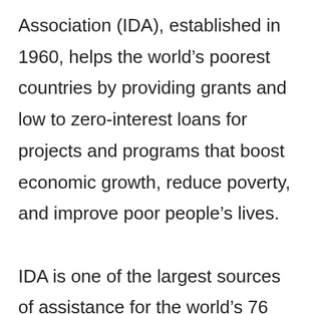Association (IDA), established in 1960, helps the world's poorest countries by providing grants and low to zero-interest loans for projects and programs that boost economic growth, reduce poverty, and improve poor people's lives.

IDA is one of the largest sources of assistance for the world's 76 poorest countries, 39 of which are in Africa. Resources from IDA bring positive change to the 1.6 billion people who live in IDA